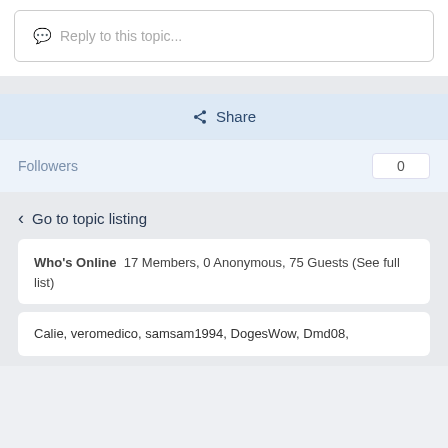Reply to this topic...
Share
Followers  0
Go to topic listing
Who's Online  17 Members, 0 Anonymous, 75 Guests (See full list)
Calie, veromedico, samsam1994, DogesWow, Dmd08,